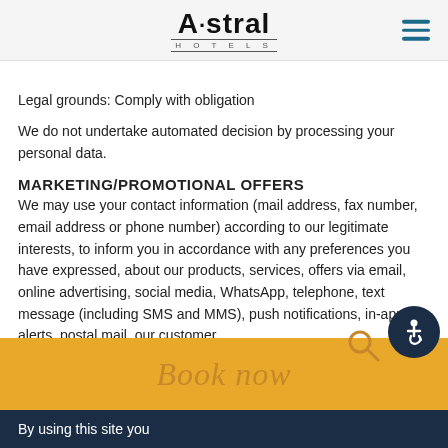Astral Hotels
Legal grounds: Comply with obligation
We do not undertake automated decision by processing your personal data.
MARKETING/PROMOTIONAL OFFERS
We may use your contact information (mail address, fax number, email address or phone number) according to our legitimate interests, to inform you in accordance with any preferences you have expressed, about our products, services, offers via email, online advertising, social media, WhatsApp, telephone, text message (including SMS and MMS), push notifications, in-app alerts, postal mail, our customer
By using this site you